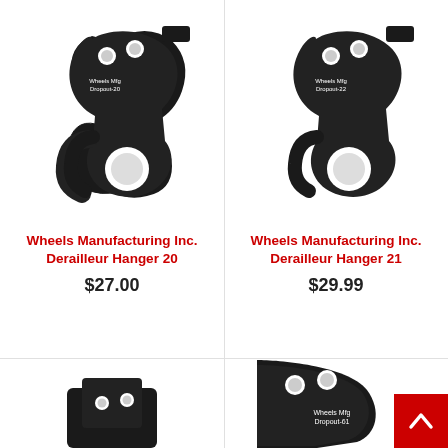[Figure (photo): Black derailleur hanger (Wheels Mfg Dropout-20) with two mounting holes at top and axle hole at bottom]
Wheels Manufacturing Inc. Derailleur Hanger 20
$27.00
[Figure (photo): Black derailleur hanger (Wheels Mfg Dropout-22) with two mounting holes at top and axle hole at bottom]
Wheels Manufacturing Inc. Derailleur Hanger 21
$29.99
[Figure (photo): Partial view of black derailleur hanger at bottom left, cut off]
[Figure (photo): Partial view of black derailleur hanger (Wheels Mfg Dropout-61) at bottom right, with mounting holes visible]